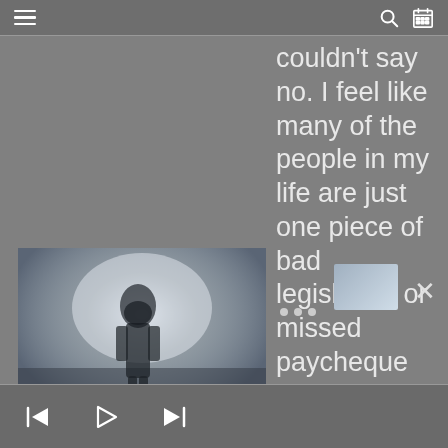[Figure (screenshot): Music player app screenshot showing hamburger menu, search and calendar icons in top bar, album art for 'Protector - Paramnesia' on left, scrolling text on right, and playback controls at bottom.]
couldn't say no. I feel like many of the people in my life are just one piece of bad legislation or missed paycheque away from being dead broke and have nothing to fall back on; and have no clear vision of what their lives will be like as they enter old age. Because of this, the being about two
[Figure (illustration): Album art for Protector - Paramnesia showing a dark figure silhouette against a bright background with the Protector logo and Paramnesia text.]